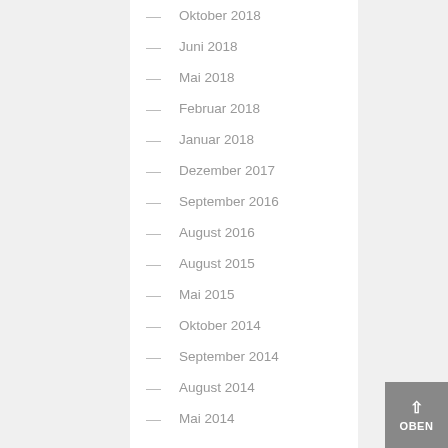— Oktober 2018
— Juni 2018
— Mai 2018
— Februar 2018
— Januar 2018
— Dezember 2017
— September 2016
— August 2016
— August 2015
— Mai 2015
— Oktober 2014
— September 2014
— August 2014
— Mai 2014